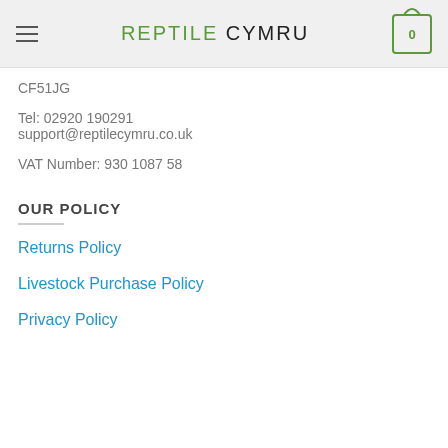REPTILE CYMRU
CF51JG
Tel: 02920 190291
support@reptilecymru.co.uk
VAT Number: 930 1087 58
OUR POLICY
Returns Policy
Livestock Purchase Policy
Privacy Policy